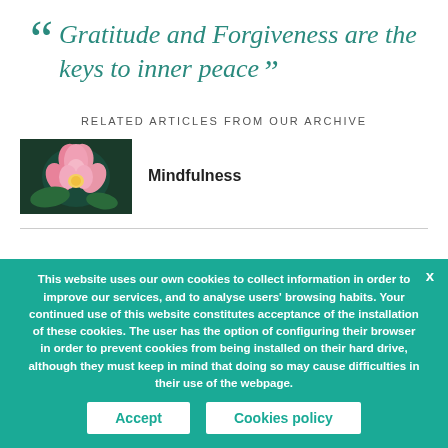“ Gratitude and Forgiveness are the keys to inner peace ”
RELATED ARTICLES FROM OUR ARCHIVE
[Figure (photo): Pink lotus flower on dark green background]
Mindfulness
This website uses our own cookies to collect information in order to improve our services, and to analyse users’ browsing habits. Your continued use of this website constitutes acceptance of the installation of these cookies. The user has the option of configuring their browser in order to prevent cookies from being installed on their hard drive, although they must keep in mind that doing so may cause difficulties in their use of the webpage.
Accept
Cookies policy